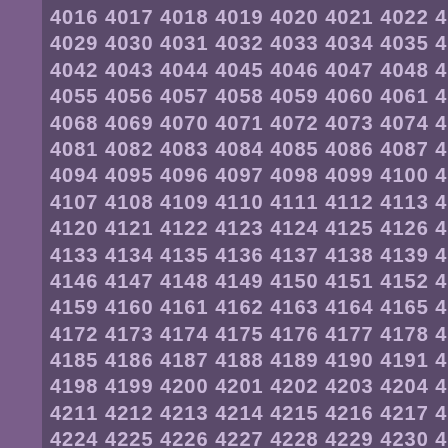4016 4017 4018 4019 4020 4021 4022 4023 4024 4025 4026 4027 4028 4029 4030 4031 4032 4033 4034 4035 4036 4037 4038 4039 4040 4041 4042 4043 4044 4045 4046 4047 4048 4049 4050 4051 4052 4053 4054 4055 4056 4057 4058 4059 4060 4061 4062 4063 4064 4065 4066 4067 4068 4069 4070 4071 4072 4073 4074 4075 4076 4077 4078 4079 4080 4081 4082 4083 4084 4085 4086 4087 4088 4089 4090 4091 4092 4093 4094 4095 4096 4097 4098 4099 4100 4101 4102 4103 4104 4105 4106 4107 4108 4109 4110 4111 4112 4113 4114 4115 4116 4117 4118 4119 4120 4121 4122 4123 4124 4125 4126 4127 4128 4129 4130 4131 4132 4133 4134 4135 4136 4137 4138 4139 4140 4141 4142 4143 4144 4145 4146 4147 4148 4149 4150 4151 4152 4153 4154 4155 4156 4157 4158 4159 4160 4161 4162 4163 4164 4165 4166 4167 4168 4169 4170 4171 4172 4173 4174 4175 4176 4177 4178 4179 4180 4181 4182 4183 4184 4185 4186 4187 4188 4189 4190 4191 4192 4193 4194 4195 4196 4197 4198 4199 4200 4201 4202 4203 4204 4205 4206 4207 4208 4209 4210 4211 4212 4213 4214 4215 4216 4217 4218 4219 4220 4221 4222 4223 4224 4225 4226 4227 4228 4229 4230 4231 4232 4233 4234 4235 4236 4237 4238 4239 4240 4241 4242 4243 4244 4245 4246 4247 4248 4249 4250 4251 4252 4253 4254 4255 4256 4257 4258 4259 4260 4261